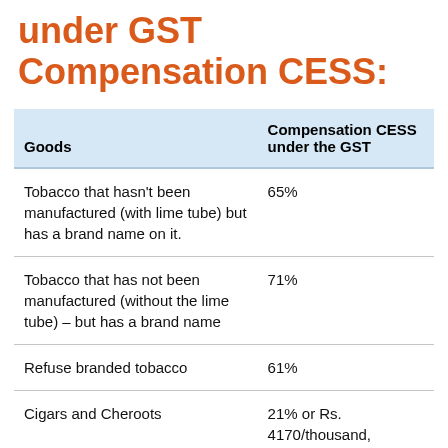under GST Compensation CESS:
| Goods | Compensation CESS under the GST |
| --- | --- |
| Tobacco that hasn't been manufactured (with lime tube) but has a brand name on it. | 65% |
| Tobacco that has not been manufactured (without the lime tube) – but has a brand name | 71% |
| Refuse branded tobacco | 61% |
| Cigars and Cheroots | 21% or Rs. 4170/thousand, whichever one is higher |